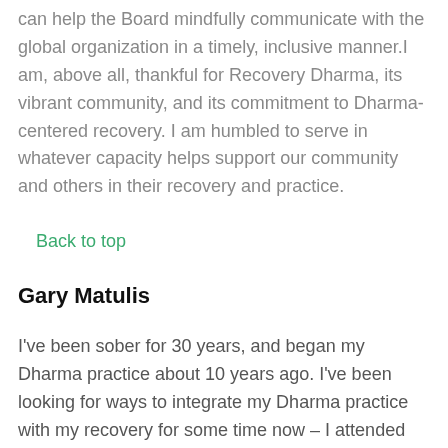can help the Board mindfully communicate with the global organization in a timely, inclusive manner.I am, above all, thankful for Recovery Dharma, its vibrant community, and its commitment to Dharma-centered recovery. I am humbled to serve in whatever capacity helps support our community and others in their recovery and practice.
Back to top
Gary Matulis
I've been sober for 30 years, and began my Dharma practice about 10 years ago. I've been looking for ways to integrate my Dharma practice with my recovery for some time now – I attended my first Buddhism and recovery